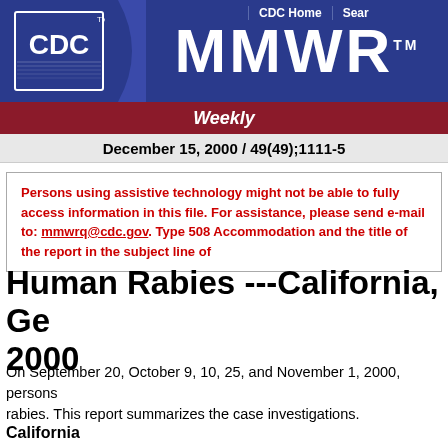CDC Home | Sear
[Figure (logo): CDC logo in white on blue background with MMWR title in white bold letters]
Weekly
December 15, 2000 / 49(49);1111-5
Persons using assistive technology might not be able to fully ac... Accommodation and the title of the report in the subject line o...
Human Rabies ---California, Ge... 2000
On September 20, October 9, 10, 25, and November 1, 2000, persons... rabies. This report summarizes the case investigations.
California